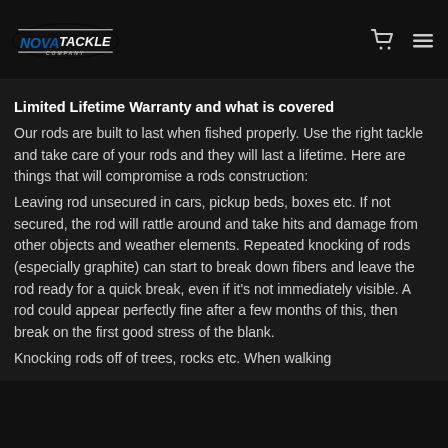Nova Tackle Company
Limited Lifetime Warranty and what is covered
Our rods are built to last when fished properly. Use the right tackle and take care of your rods and they will last a lifetime. Here are things that will compromise a rods construction:
Leaving rod unsecured in cars, pickup beds, boxes etc. If not secured, the rod will rattle around and take hits and damage from other objects and weather elements. Repeated knocking of rods (especially graphite) can start to break down fibers and leave the rod ready for a quick break, even if it's not immediately visible. A rod could appear perfectly fine after a few months of this, then break on the first good stress of the blank.
Knocking rods off of trees, rocks etc. When walking